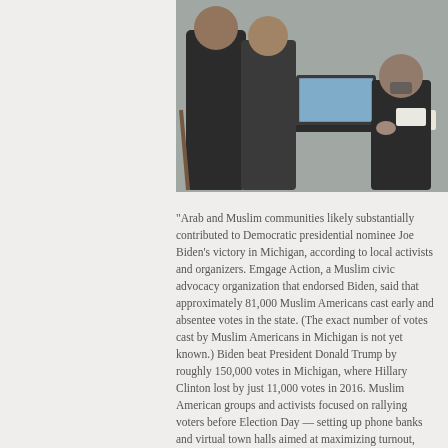[Figure (photo): Photo of people at a table with a laptop — a voter registration or civic engagement scene with individuals standing and sitting around a folding table with a green water bottle and a laptop open.]
“Arab and Muslim communities likely substantially contributed to Democratic presidential nominee Joe Biden’s victory in Michigan, according to local activists and organizers. Emgage Action, a Muslim civic advocacy organization that endorsed Biden, said that approximately 81,000 Muslim Americans cast early and absentee votes in the state. (The exact number of votes cast by Muslim Americans in Michigan is not yet known.) Biden beat President Donald Trump by roughly 150,000 votes in Michigan, where Hillary Clinton lost by just 11,000 votes in 2016. Muslim American groups and activists focused on rallying voters before Election Day — setting up phone banks and virtual town halls aimed at maximizing turnout, especially in battleground states. Those efforts, they said, paid off and Michigan is an example of that. “Where